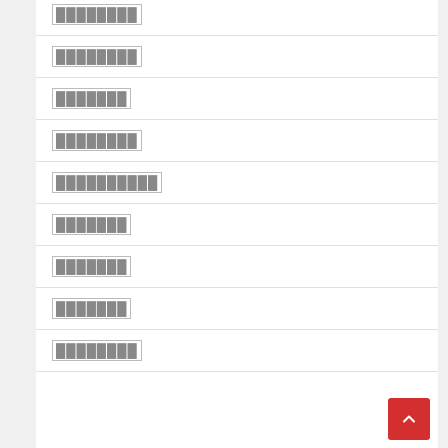████████
████████
███████
████████
██████████
███████
███████
███████
████████